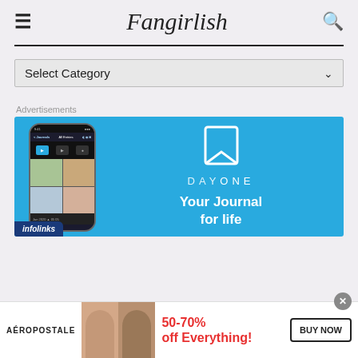Fangirlish
Select Category
Advertisements
[Figure (screenshot): DayOne journal app advertisement with blue background, showing a phone mockup with the app interface on the left and the DayOne logo with text 'Your Journal for life' on the right. An infolinks badge appears in the bottom left.]
[Figure (screenshot): Aeropostale advertisement showing two female models, text '50-70% off Everything!' in red, and a 'BUY NOW' button, with a close (X) button in the top right corner.]